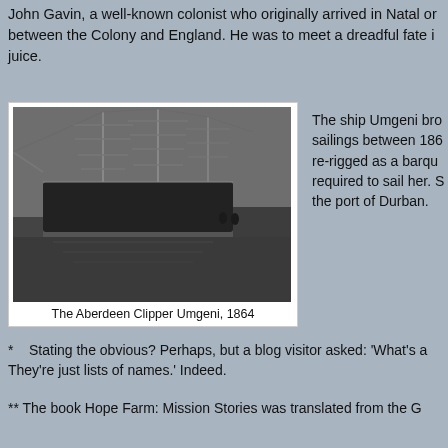John Gavin, a well-known colonist who originally arrived in Natal on between the Colony and England. He was to meet a dreadful fate i juice.
[Figure (photo): Black and white photograph of the Aberdeen Clipper ship Umgeni docked at a port, dated 1864. The tall sailing ship is shown with multiple masts and rigging, moored alongside a quay.]
The Aberdeen Clipper Umgeni, 1864
The ship Umgeni bro sailings between 186 re-rigged as a barqu required to sail her. S the port of Durban.
* Stating the obvious? Perhaps, but a blog visitor asked: 'What's a They're just lists of names.' Indeed.
** The book Hope Farm: Mission Stories was translated from the G